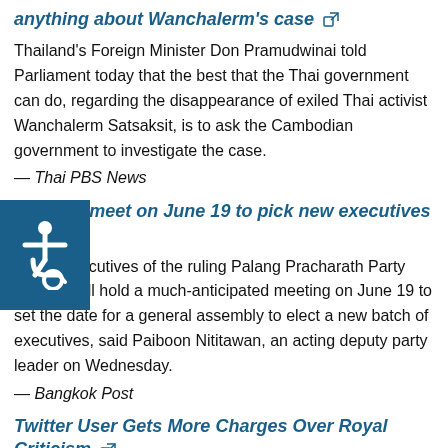anything about Wanchalerm's case
Thailand's Foreign Minister Don Pramudwinai told Parliament today that the best that the Thai government can do, regarding the disappearance of exiled Thai activist Wanchalerm Satsaksit, is to ask the Cambodian government to investigate the case.
— Thai PBS News
PPRP to meet on June 19 to pick new executives
Acting executives of the ruling Palang Pracharath Party (PPRP) will hold a much-anticipated meeting on June 19 to set the date for a general assembly to elect a new batch of executives, said Paiboon Nititawan, an acting deputy party leader on Wednesday.
— Bangkok Post
Twitter User Gets More Charges Over Royal Criticism
Police are seeking to punish a 20-year-old man who posted a series of tweets critical of the Royal Family with